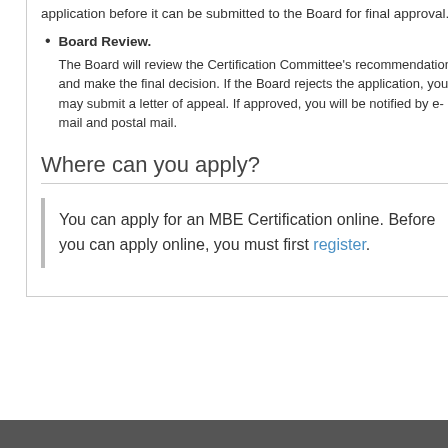application before it can be submitted to the Board for final approval.
Board Review. The Board will review the Certification Committee's recommendation and make the final decision. If the Board rejects the application, you may submit a letter of appeal. If approved, you will be notified by e-mail and postal mail.
Where can you apply?
You can apply for an MBE Certification online. Before you can apply online, you must first register.